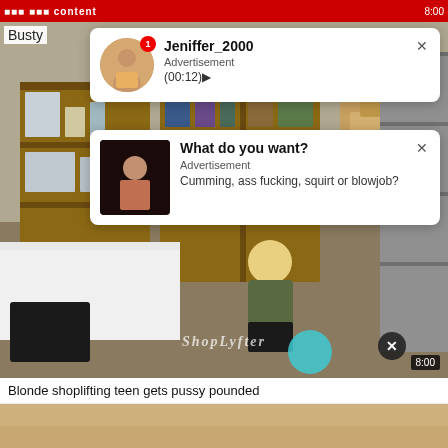[Figure (screenshot): Video website screenshot showing adult video content with overlay advertisement popups. Top bar shows site logo in red. Main video area shows a scene in a storage room with a blonde woman. Two advertisement popup notifications are overlaid on the video.]
Jeniffer_2000
Advertisement
(00:12)
What do you want?
Advertisement
Cumming, ass fucking, squirt or blowjob?
Blonde shoplifting teen gets pussy pounded